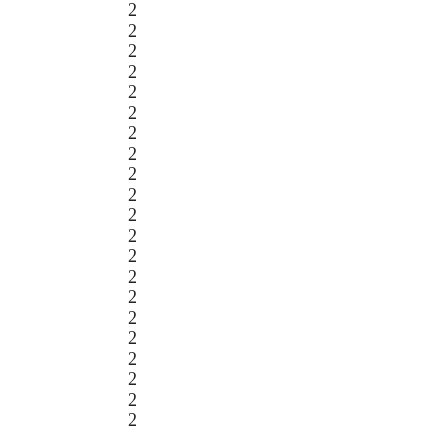2
2
2
2
2
2
2
2
2
2
2
2
2
2
2
2
2
2
2
2
2